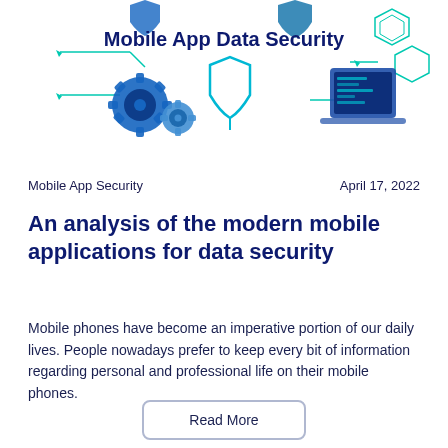[Figure (illustration): Mobile App Data Security infographic with gear icons, shield icon, computer/tablet icons, and teal hexagonal circuit line decorations. Title 'Mobile App Data Security' in dark navy bold text centered at top of illustration.]
Mobile App Security	April 17, 2022
An analysis of the modern mobile applications for data security
Mobile phones have become an imperative portion of our daily lives. People nowadays prefer to keep every bit of information regarding personal and professional life on their mobile phones.
Read More